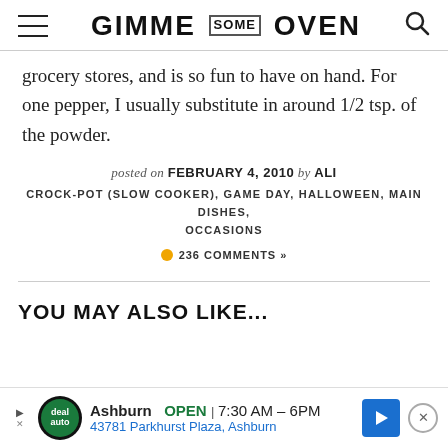GIMME SOME OVEN
grocery stores, and is so fun to have on hand. For one pepper, I usually substitute in around 1/2 tsp. of the powder.
posted on FEBRUARY 4, 2010 by ALI
CROCK-POT (SLOW COOKER), GAME DAY, HALLOWEEN, MAIN DISHES, OCCASIONS
● 236 COMMENTS »
YOU MAY ALSO LIKE...
[Figure (infographic): Advertisement banner for Ashburn auto dealership: OPEN 7:30AM–6PM, 43781 Parkhurst Plaza, Ashburn]